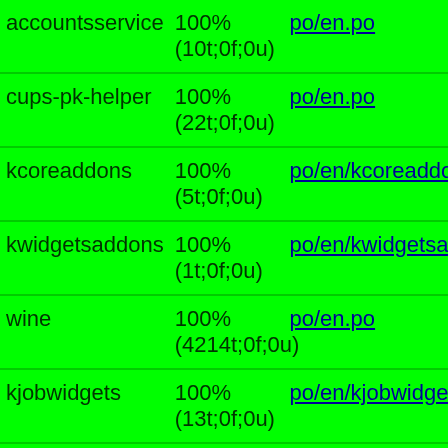| accountsservice | 100%
(10t;0f;0u) | po/en.po |
| cups-pk-helper | 100%
(22t;0f;0u) | po/en.po |
| kcoreaddons | 100%
(5t;0f;0u) | po/en/kcoreaddons5_q... |
| kwidgetsaddons | 100%
(1t;0f;0u) | po/en/kwidgetsaddons... |
| wine | 100%
(4214t;0f;0u) | po/en.po |
| kjobwidgets | 100%
(13t;0f;0u) | po/en/kjobwidgets5_qt... |
| lintian | 100%
(31t;0f;0u) | t/recipes/checks/debia... |
| lintian | 100%
(31t;0f;0u) | t/recipes/checks/debia... |